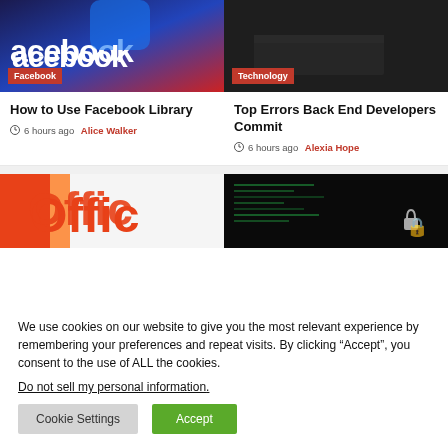[Figure (photo): Facebook logo image with dark blue/purple background]
[Figure (photo): Technology image showing person using laptop in dark setting]
How to Use Facebook Library
6 hours ago  Alice Walker
Top Errors Back End Developers Commit
6 hours ago  Alexia Hope
[Figure (photo): Microsoft Office logo partially visible]
[Figure (photo): Dark image with code and padlock icon]
We use cookies on our website to give you the most relevant experience by remembering your preferences and repeat visits. By clicking “Accept”, you consent to the use of ALL the cookies.
Do not sell my personal information.